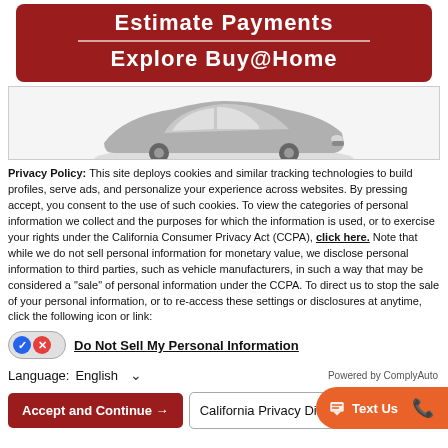[Figure (screenshot): Red banner with white text showing 'Estimate Payments' and 'Explore Buy@Home' with a horizontal divider line between them]
[Figure (photo): Partial view of a silver/gray car on a light gray background inside a bordered box]
Privacy Policy: This site deploys cookies and similar tracking technologies to build profiles, serve ads, and personalize your experience across websites. By pressing accept, you consent to the use of such cookies. To view the categories of personal information we collect and the purposes for which the information is used, or to exercise your rights under the California Consumer Privacy Act (CCPA), click here. Note that while we do not sell personal information for monetary value, we disclose personal information to third parties, such as vehicle manufacturers, in such a way that may be considered a "sale" of personal information under the CCPA. To direct us to stop the sale of your personal information, or to re-access these settings or disclosures at anytime, click the following icon or link:
Do Not Sell My Personal Information
Language: English
Powered by ComplyAuto
Accept and Continue →
California Privacy Dis...
Text Us